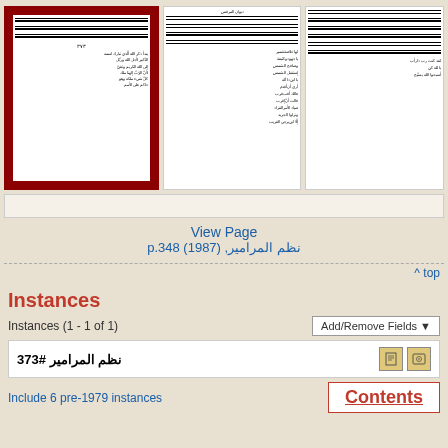[Figure (screenshot): Three thumbnail images of Arabic music/text manuscript pages, the leftmost highlighted with a dark red border]
View Page
نظم المرامير, p.348 (1987)
^ top
Instances
Instances (1 - 1 of 1)
Add/Remove Fields
نظم المرامير #373
Include 6 pre-1979 instances
Contents